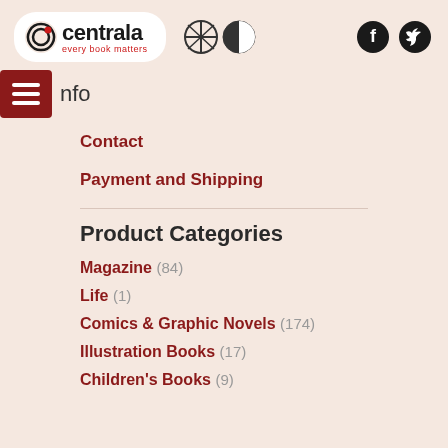[Figure (logo): Centrala logo with text 'every book matters' in a white rounded rectangle, with UK flag and half-circle language icons, and Facebook/Twitter social icons]
Info
Contact
Payment and Shipping
Product Categories
Magazine (84)
Life (1)
Comics & Graphic Novels (174)
Illustration Books (17)
Children's Books (9)